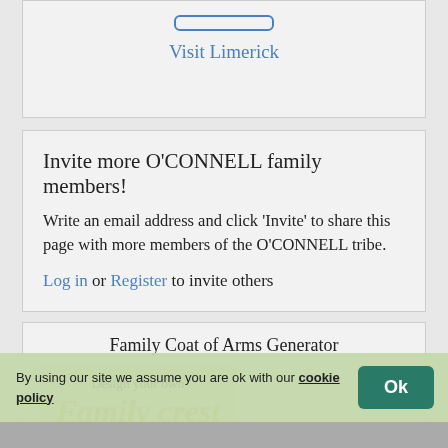Visit Limerick
Invite more O'CONNELL family members!
Write an email address and click 'Invite' to share this page with more members of the O'CONNELL tribe.
Log in or Register to invite others
Family Coat of Arms Generator
Design your own Family crest
By using our site we assume you are ok with our cookie policy